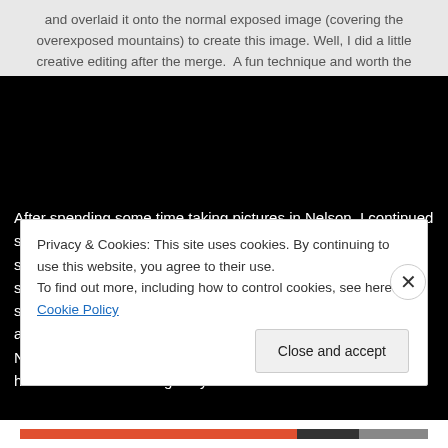and overlaid it onto the normal exposed image (covering the overexposed mountains) to create this image. Well, I did a little creative editing after the merge.  A fun technique and worth the time to explore!
[Figure (photo): Dark/black rectangular area representing a photograph of a landscape scene, mostly obscured/black in this view.]
After spending some time taking pictures in Nelson, I continued south on US 95 to Laughlin, Nevada, where I made a quick stop at the Big Bend of the Colorado River State Park and stamped my Nevada State Parks Passport.  Big Bend is at the southern tip of Nevada and I don't expect to get back there anytime soon.  From there, I headed for Grand Canyon National Park.  I drove on I-40 to Williams, Arizona, and headed north on AZ Highway 64 to Mather P...
Privacy & Cookies: This site uses cookies. By continuing to use this website, you agree to their use.
To find out more, including how to control cookies, see here: Cookie Policy
Close and accept